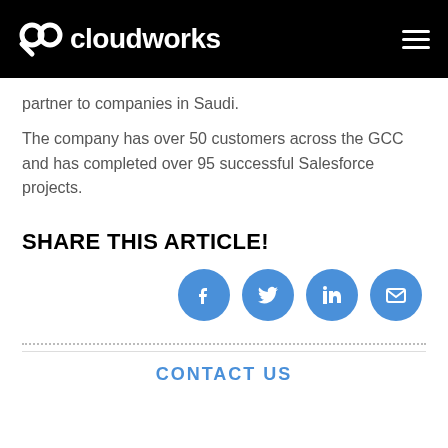cloudworks
partner to companies in Saudi.
The company has over 50 customers across the GCC and has completed over 95 successful Salesforce projects.
SHARE THIS ARTICLE!
[Figure (infographic): Four circular share buttons: Facebook, Twitter, LinkedIn, Email]
CONTACT US